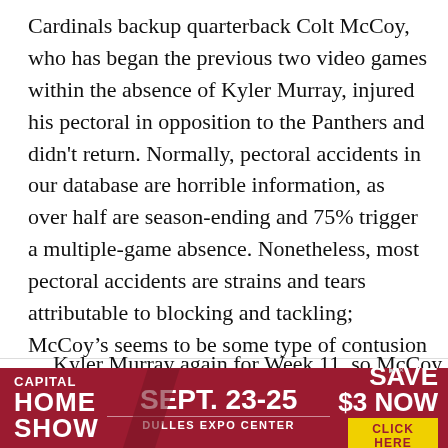Cardinals backup quarterback Colt McCoy, who has began the previous two video games within the absence of Kyler Murray, injured his pectoral in opposition to the Panthers and didn't return. Normally, pectoral accidents in our database are horrible information, as over half are season-ending and 75% trigger a multiple-game absence. Nonetheless, most pectoral accidents are strains and tears attributable to blocking and tackling; McCoy's seems to be some type of contusion or delicate pressure, which is prone to be significantly much less extreme. Such accidents are so uncommon for quarterbacks that we do not need sufficient knowledge to mission restoration instances particular to that place. The group hopes to
Kyler Murray again for Week 11, so McCoy might not
[Figure (infographic): Advertisement banner for Capital Home Show, Sept. 23-25 at Dulles Expo Center with Save $3 Now / Click Here call to action]